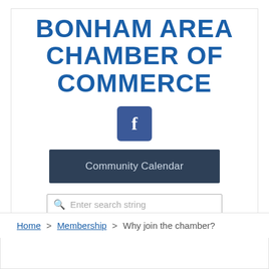BONHAM AREA CHAMBER OF COMMERCE
[Figure (logo): Facebook logo icon — white 'f' on blue rounded square background]
Community Calendar
Enter search string
Home > Membership > Why join the chamber?